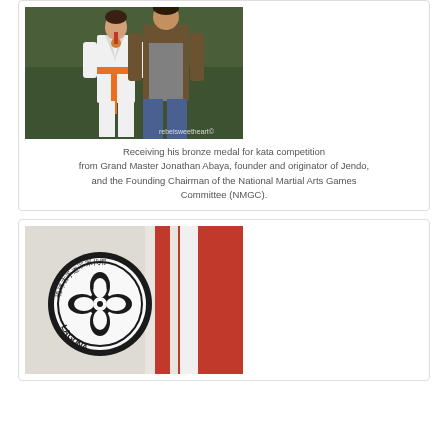[Figure (photo): Two people standing together in what appears to be a martial arts venue. One person is wearing a white gi (karate uniform) with an orange belt and a bronze medal around their neck. The other person is wearing casual clothes (brown jacket, jeans). There is a watermark 'rebelsweetheart©' in the lower right corner.]
Receiving his bronze medal for kata competition from Grand Master Jonathan Abaya, founder and originator of Jendo, and the Founding Chairman of the National Martial Arts Games Committee (NMGC).
[Figure (photo): Close-up photo of a martial arts gi (white uniform) with a circular patch that reads 'LAGUNA' at the bottom and has Chinese/Japanese characters around a floral emblem. Next to it is a red and white striped ribbon or medal lanyard.]